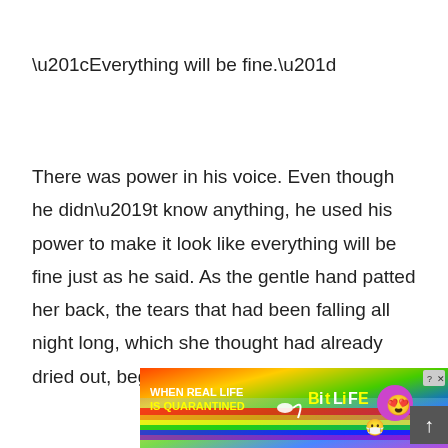“Everything will be fine.”
There was power in his voice. Even though he didn’t know anything, he used his power to make it look like everything will be fine just as he said. As the gentle hand patted her back, the tears that had been falling all night long, which she thought had already dried out, bega
[Figure (other): Advertisement banner for BitLife mobile game with colorful gradient background, text reading WHEN REAL LIFE IS QUARANTINED and BitLife logo with emoji characters]